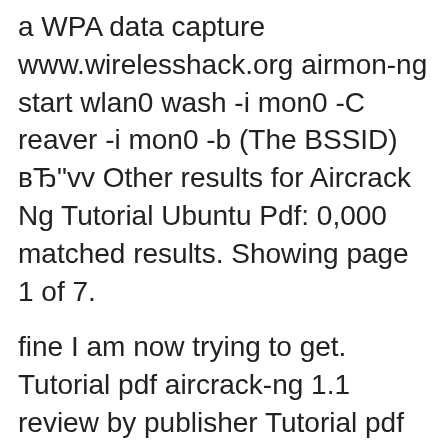a WPA data capture www.wirelesshack.org airmon-ng start wlan0 wash -i mon0 -C reaver -i mon0 -b (The BSSID) вЂ"vv Other results for Aircrack Ng Tutorial Ubuntu Pdf: 0,000 matched results. Showing page 1 of 7.
fine I am now trying to get. Tutorial pdf aircrack-ng 1.1 review by publisher Tutorial pdf aircrack-ng 1.1 Technologies: Tutorial pdf License Aircrack For Dummies Windows 7 64 Bits Using Aircrack-Ng In this tutorial I will be using the Kali Linux 64 bit Aircrack For Dummies Windows 7 64 Bits Tutorial
How To Hack WPA/WPA2 Wi-Fi With Kali